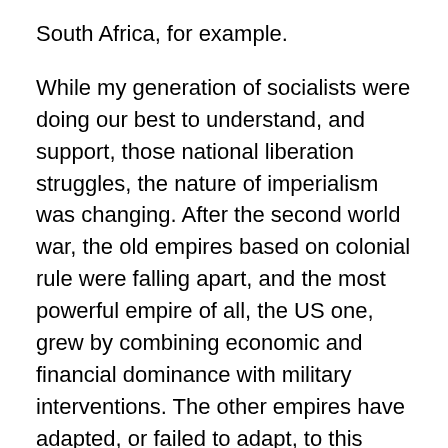South Africa, for example.
While my generation of socialists were doing our best to understand, and support, those national liberation struggles, the nature of imperialism was changing. After the second world war, the old empires based on colonial rule were falling apart, and the most powerful empire of all, the US one, grew by combining economic and financial dominance with military interventions. The other empires have adapted, or failed to adapt, to this model. I'd say the British empire has largely failed, to the point where our ridiculous flag-waving British prime minister, by fluffing up the Brexit negotiations, has done a great deal to undo Britain's control over its oldest colony, Ireland.
The Russian empire is failing in its own way. I'd say that the Soviet Union, while suppressing key economic